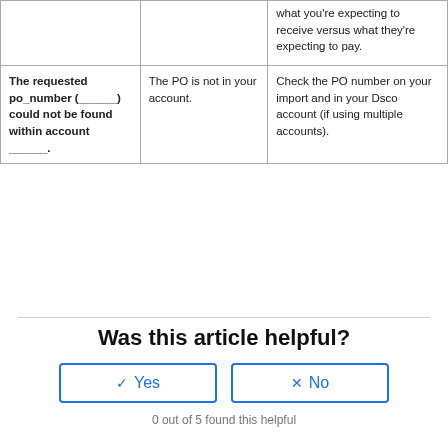|  |  | what you're expecting to receive versus what they're expecting to pay. |
| The requested po_number (______) could not be found within account ______. | The PO is not in your account. | Check the PO number on your import and in your Dsco account (if using multiple accounts). |
Was this article helpful?
Yes
No
0 out of 5 found this helpful